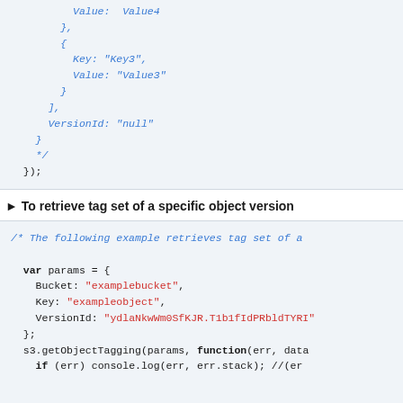Value: Value4
        },
        {
          Key: "Key3",
          Value: "Value3"
        }
      ],
      VersionId: "null"
    }
    */
  });
► To retrieve tag set of a specific object version
/* The following example retrieves tag set of a...

  var params = {
    Bucket: "examplebucket",
    Key: "exampleobject",
    VersionId: "ydlaNkwWm0SfKJR.T1b1fIdPRbldTYRI"
  };
  s3.getObjectTagging(params, function(err, data
    if (err) console.log(err, err.stack); //(er...